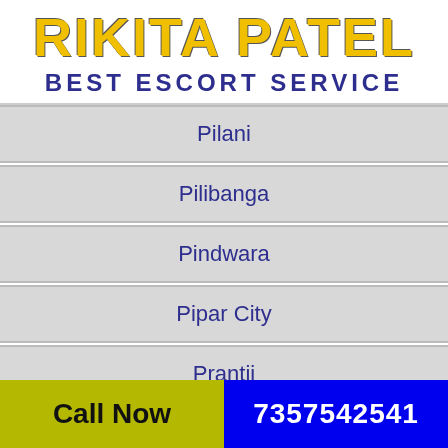RIKITA PATEL BEST ESCORT SERVICE
Pilani
Pilibanga
Pindwara
Pipar City
Prantij
Pratapgarh
Call Now  7357542541